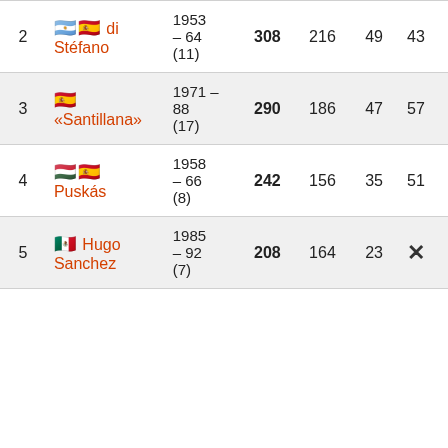| # | Player | Years (Seasons) | Total | Liga | Copa | Other |
| --- | --- | --- | --- | --- | --- | --- |
| 2 | 🇦🇷🇪🇸 di Stéfano | 1953 – 64 (11) | 308 | 216 | 49 | 43 |
| 3 | 🇪🇸 «Santillana» | 1971 – 88 (17) | 290 | 186 | 47 | 57 |
| 4 | 🇭🇺🇪🇸 Puskás | 1958 – 66 (8) | 242 | 156 | 35 | 51 |
| 5 | 🇲🇽 Hugo Sanchez | 1985 – 92 (7) | 208 | 164 | 23 | 21 |